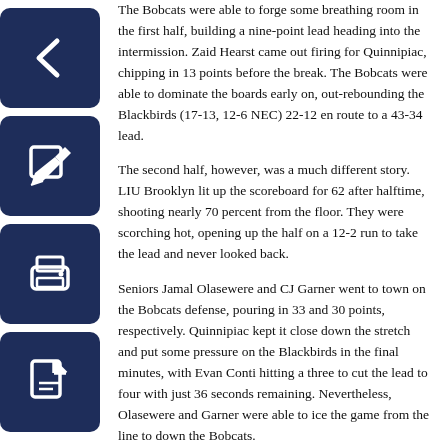[Figure (other): Dark navy blue sidebar with four icon buttons: back arrow, edit/pencil, print, and PDF document icons]
The Bobcats were able to forge some breathing room in the first half, building a nine-point lead heading into the intermission. Zaid Hearst came out firing for Quinnipiac, chipping in 13 points before the break. The Bobcats were able to dominate the boards early on, out-rebounding the Blackbirds (17-13, 12-6 NEC) 22-12 en route to a 43-34 lead.
The second half, however, was a much different story. LIU Brooklyn lit up the scoreboard for 62 after halftime, shooting nearly 70 percent from the floor. They were scorching hot, opening up the half on a 12-2 run to take the lead and never looked back.
Seniors Jamal Olasewere and CJ Garner went to town on the Bobcats defense, pouring in 33 and 30 points, respectively. Quinnipiac kept it close down the stretch and put some pressure on the Blackbirds in the final minutes, with Evan Conti hitting a three to cut the lead to four with just 36 seconds remaining. Nevertheless, Olasewere and Garner were able to ice the game from the line to down the Bobcats.
Despite Dave Johnson's career-high 24 points, Quinnipiac couldn't find ways to stop the Blackbirds on the other end. Ousmane Drame also put up nice numbers in the loss, scoring 21 off the bench while pulling down six boards.
Quinnipiac, who had already clinched a playoff berth, could have locked up the two seed after coming into the game in a four-way tie for second place in the conference. Instead, they'll have to win at least one game on